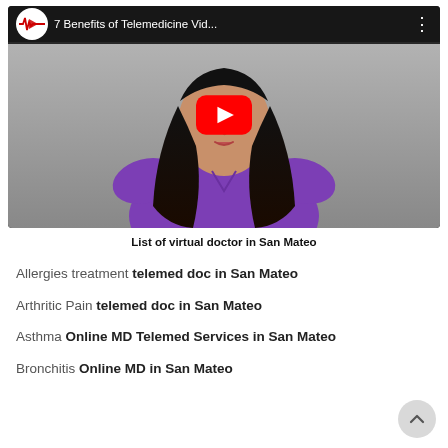[Figure (screenshot): YouTube video thumbnail showing a woman in a purple dress with long dark hair. The video title reads '7 Benefits of Telemedicine Vid...' with a YouTube play button overlay and the channel logo in the top left corner.]
List of virtual doctor in San Mateo
Allergies treatment telemed doc in San Mateo
Arthritic Pain telemed doc in San Mateo
Asthma Online MD Telemed Services in San Mateo
Bronchitis Online MD in San Mateo